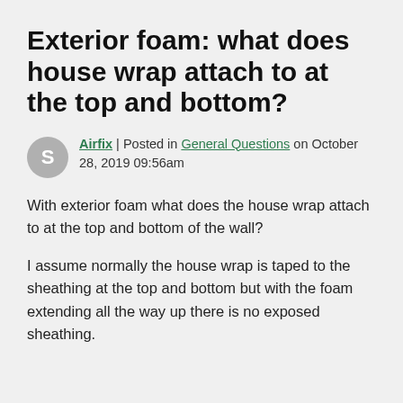Exterior foam: what does house wrap attach to at the top and bottom?
Airfix | Posted in General Questions on October 28, 2019 09:56am
With exterior foam what does the house wrap attach to at the top and bottom of the wall?
I assume normally the house wrap is taped to the sheathing at the top and bottom but with the foam extending all the way up there is no exposed sheathing.